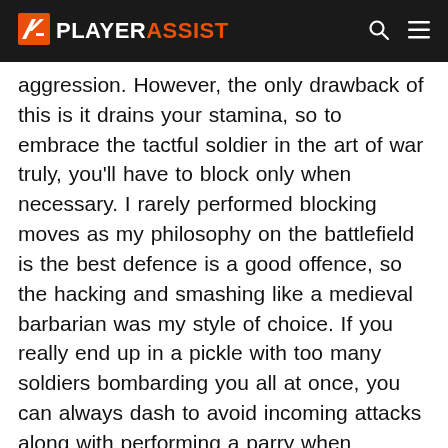PLAYERASSIST
aggression. However, the only drawback of this is it drains your stamina, so to embrace the tactful soldier in the art of war truly, you'll have to block only when necessary. I rarely performed blocking moves as my philosophy on the battlefield is the best defence is a good offence, so the hacking and smashing like a medieval barbarian was my style of choice. If you really end up in a pickle with too many soldiers bombarding you all at once, you can always dash to avoid incoming attacks along with performing a parry when needed.
If you prefer fighting from afar, you can opt for yourself to fight with long-ranged